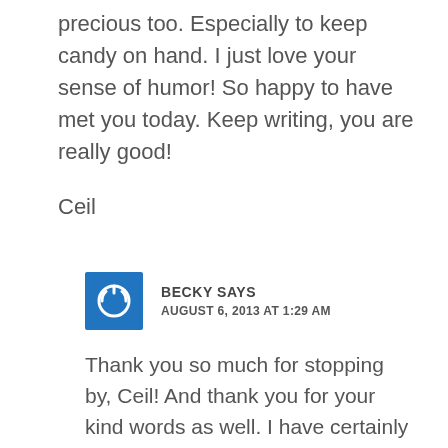precious too. Especially to keep candy on hand. I just love your sense of humor! So happy to have met you today. Keep writing, you are really good!
Ceil
BECKY SAYS
AUGUST 6, 2013 AT 1:29 AM
Thank you so much for stopping by, Ceil! And thank you for your kind words as well. I have certainly snuck my share of